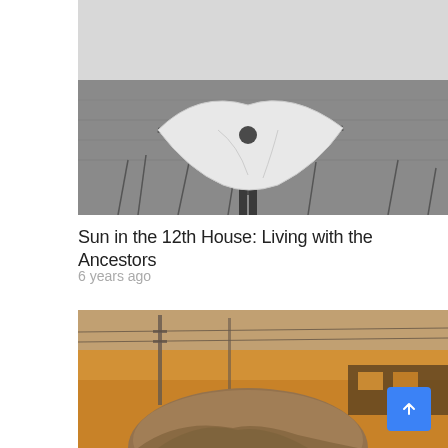[Figure (photo): Black and white photograph of a person holding a large white fabric/sheet spread wide in an open grassy field, shot from behind]
Sun in the 12th House: Living with the Ancestors
6 years ago
[Figure (photo): Color photograph of a person with tousled hair looking away, blurred warm golden-orange sunset background with utility poles and a train or bus]